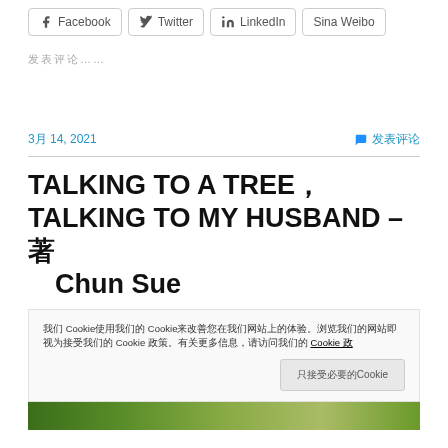Facebook  Twitter  LinkedIn  Sina Weibo
发表评论……
3月 14, 2021    发表评论
TALKING TO A TREE，TALKING TO MY HUSBAND – 著 Chun Sue
我们 Cookie使用我们的 Cookie来改善您在我们网站上的体验。浏览我们的网站即视为接受我们的 Cookie 政策。有关更多信息，请访问我们的 Cookie 政策
只接受必要的Cookie